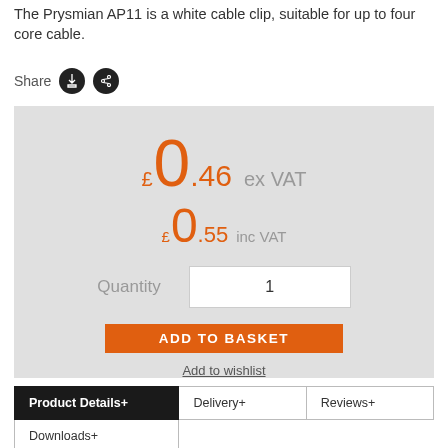The Prysmian AP11 is a white cable clip, suitable for up to four core cable.
Share
£0.46 ex VAT
£0.55 inc VAT
Quantity 1
ADD TO BASKET
Add to wishlist
| Product Details+ | Delivery+ | Reviews+ |
| --- | --- | --- |
| Downloads+ |  |  |